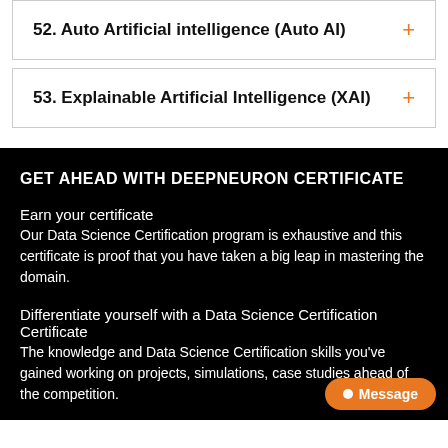52. Auto Artificial intelligence (Auto AI)
53. Explainable Artificial Intelligence (XAI)
GET AHEAD WITH DEEPNEURON CERTIFICATE
Earn your certificate
Our Data Science Certification program is exhaustive and this certificate is proof that you have taken a big leap in mastering the domain.
Differentiate yourself with a Data Science Certification Certificate
The knowledge and Data Science Certification skills you've gained working on projects, simulations, case studies ahead of the competition.